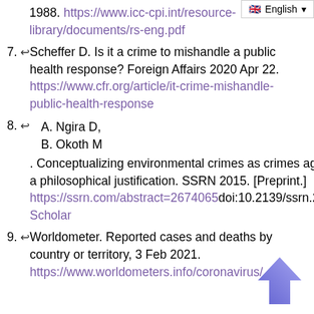6. International Criminal Court... 1988. https://www.icc-cpi.int/resource-library/documents/rs-eng.pdf
7. ↩ Scheffer D. Is it a crime to mishandle a public health response? Foreign Affairs 2020 Apr 22. https://www.cfr.org/article/it-crime-mishandle-public-health-response
8. ↩ A. Ngira D, B. Okoth M. Conceptualizing environmental crimes as crimes against humanity: a philosophical justification. SSRN 2015. [Preprint.] https://ssrn.com/abstract=2674065 doi:10.2139/ssrn.2674065 Google Scholar
9. ↩ Worldometer. Reported cases and deaths by country or territory, 3 Feb 2021. https://www.worldometers.info/coronavirus/